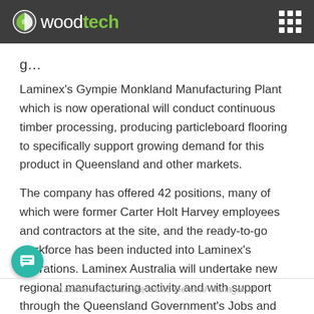woodtech
Laminex's Gympie Monkland Manufacturing Plant which is now operational will conduct continuous timber processing, producing particleboard flooring to specifically support growing demand for this product in Queensland and other markets.
The company has offered 42 positions, many of which were former Carter Holt Harvey employees and contractors at the site, and the ready-to-go workforce has been inducted into Laminex's operations. Laminex Australia will undertake new regional manufacturing activity and with support through the Queensland Government's Jobs and Regional Growth Fund will maintain dozens of direct jobs that would have been